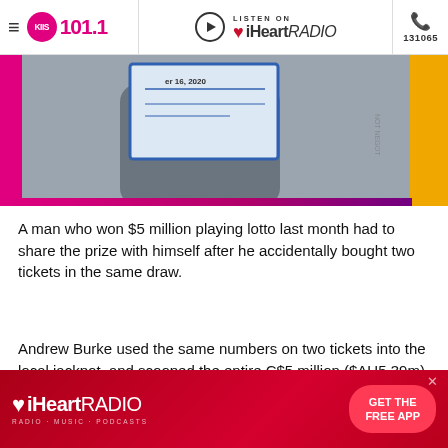KIIS 101.1 | LISTEN ON iHeartRADIO | 131065
[Figure (photo): Person holding a large cheque/certificate with pink border at bottom, yellow bar on right side]
A man who won $5 million playing lotto last month had to share the prize with himself after he accidentally bought two tickets in the same draw.
Andrew Burke used the same numbers on two tickets into the local jackpot, and scooped the entire C$5 million ($AU5.39m) prize – albeit in two $2.5 million lots.
[Figure (screenshot): iHeartRADIO advertisement banner with GET THE FREE APP button]